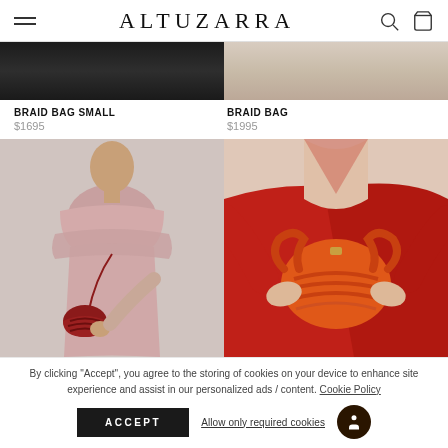ALTUZARRA
[Figure (photo): Top portion of two product photos showing bags: left - dark outfit with bag, right - light outfit with bag]
BRAID BAG SMALL
$1695
BRAID BAG
$1995
[Figure (photo): Left: Woman in pink off-shoulder ribbed dress holding red braided leather bag. Right: Close-up of person in red dress holding orange braided leather bag.]
By clicking "Accept", you agree to the storing of cookies on your device to enhance site experience and assist in our personalized ads / content. Cookie Policy
ACCEPT
Allow only required cookies